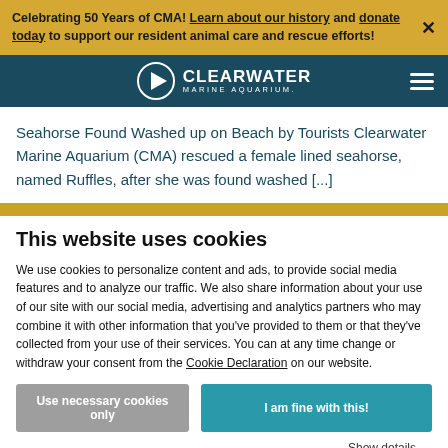Celebrating 50 Years of CMA! Learn about our history and donate today to support our resident animal care and rescue efforts!
[Figure (logo): Clearwater Marine Aquarium logo with navigation bar on dark teal background]
Seahorse Found Washed up on Beach by Tourists Clearwater Marine Aquarium (CMA) rescued a female lined seahorse, named Ruffles, after she was found washed [...]
This website uses cookies
We use cookies to personalize content and ads, to provide social media features and to analyze our traffic. We also share information about your use of our site with our social media, advertising and analytics partners who may combine it with other information that you've provided to them or that they've collected from your use of their services. You can at any time change or withdraw your consent from the Cookie Declaration on our website.
Use necessary cookies only | I am fine with this!
Show details